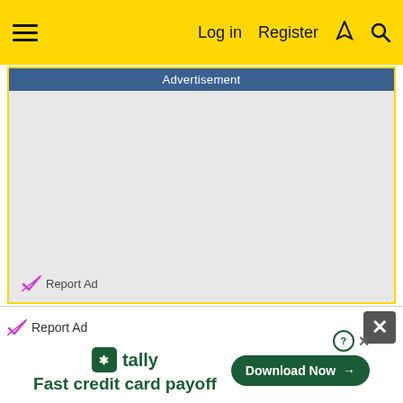≡   Log in   Register   ⚡   🔍
[Figure (screenshot): Advertisement placeholder box with blue header bar labeled 'Advertisement' and light gray empty body area]
Report Ad
Report Ad
[Figure (screenshot): Tally app advertisement: tally logo, 'Fast credit card payoff' tagline, and 'Download Now' button]
Fast credit card payoff  Download Now →